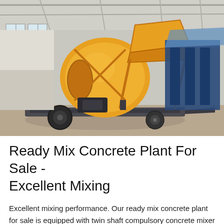[Figure (photo): A yellow mobile concrete mixer machine on a wheeled trailer frame, parked inside an industrial warehouse. Another blue machine is visible in the background.]
Ready Mix Concrete Plant For Sale - Excellent Mixing
Excellent mixing performance. Our ready mix concrete plant for sale is equipped with twin shaft compulsory concrete mixer machine. This of mixer has the features of evenly and thoroughly stirring and high